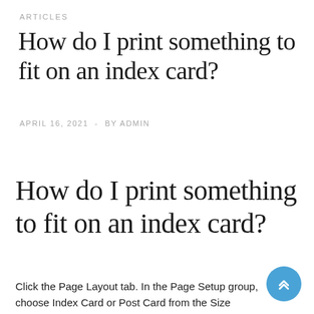ARTICLES
How do I print something to fit on an index card?
APRIL 16, 2021  -  BY ADMIN
How do I print something to fit on an index card?
Click the Page Layout tab. In the Page Setup group, choose Index Card or Post Card from the Size dropdown. In Word